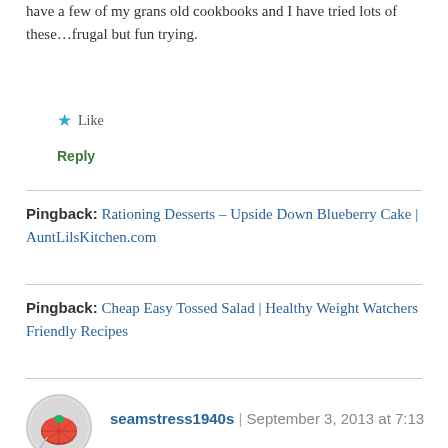have a few of my grans old cookbooks and I have tried lots of these...frugal but fun trying.
Like
Reply
Pingback: Rationing Desserts – Upside Down Blueberry Cake | AuntLilsKitchen.com
Pingback: Cheap Easy Tossed Salad | Healthy Weight Watchers Friendly Recipes
seamstress1940s | September 3, 2013 at 7:13 am
👍 2 👎 2 ℹ Rate This
I'm starting my own wartime diet tomorrow! I'll be blogging about the experience here...